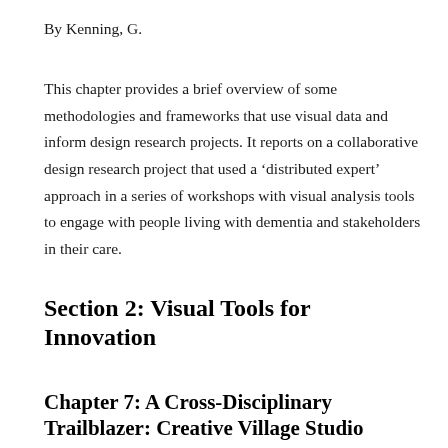By Kenning, G.
This chapter provides a brief overview of some methodologies and frameworks that use visual data and inform design research projects. It reports on a collaborative design research project that used a 'distributed expert' approach in a series of workshops with visual analysis tools to engage with people living with dementia and stakeholders in their care.
Section 2: Visual Tools for Innovation
Chapter 7: A Cross-Disciplinary Trailblazer: Creative Village Studio